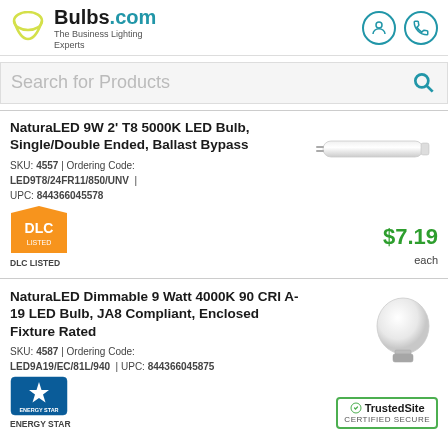[Figure (logo): Bulbs.com logo with arc and tagline 'The Business Lighting Experts']
Search for Products
NaturaLED 9W 2' T8 5000K LED Bulb, Single/Double Ended, Ballast Bypass
SKU: 4557 | Ordering Code: LED9T8/24FR11/850/UNV | UPC: 844366045578
[Figure (photo): T8 LED tube bulb, white elongated tube]
$7.19 each
[Figure (logo): DLC LISTED badge/logo]
NaturaLED Dimmable 9 Watt 4000K 90 CRI A-19 LED Bulb, JA8 Compliant, Enclosed Fixture Rated
SKU: 4587 | Ordering Code: LED9A19/EC/81L/940 | UPC: 844366045875
[Figure (photo): A-19 LED bulb, round white bulb with silver base]
[Figure (logo): Energy Star logo]
[Figure (logo): TrustedSite CERTIFIED SECURE badge]